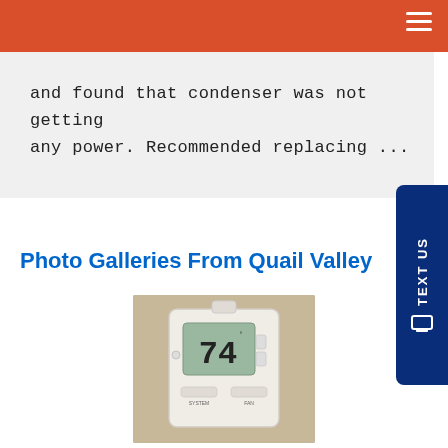and found that condenser was not getting any power. Recommended replacing ...
Photo Galleries From Quail Valley
[Figure (photo): A white digital thermostat mounted on a wall, displaying 74 degrees on its LCD screen.]